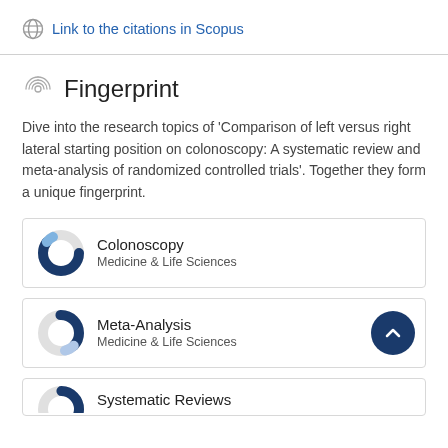Link to the citations in Scopus
Fingerprint
Dive into the research topics of 'Comparison of left versus right lateral starting position on colonoscopy: A systematic review and meta-analysis of randomized controlled trials'. Together they form a unique fingerprint.
[Figure (donut-chart): Donut chart for Colonoscopy topic, approximately 85% filled in dark blue]
Colonoscopy
Medicine & Life Sciences
[Figure (donut-chart): Donut chart for Meta-Analysis topic, approximately 35% filled in dark blue]
Meta-Analysis
Medicine & Life Sciences
[Figure (donut-chart): Donut chart for Systematic Reviews topic, partially visible at bottom]
Systematic Reviews